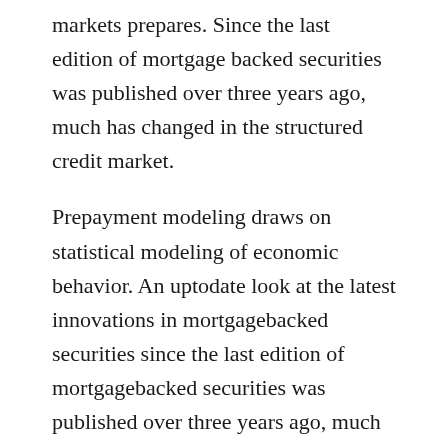markets prepares. Since the last edition of mortgage backed securities was published over three years ago, much has changed in the structured credit market.
Prepayment modeling draws on statistical modeling of economic behavior. An uptodate look at the latest innovations in mortgagebacked securities since the last edition of mortgagebacked securities was published over three years ago, much has changed in the structured credit market. Complete the form to download mcts